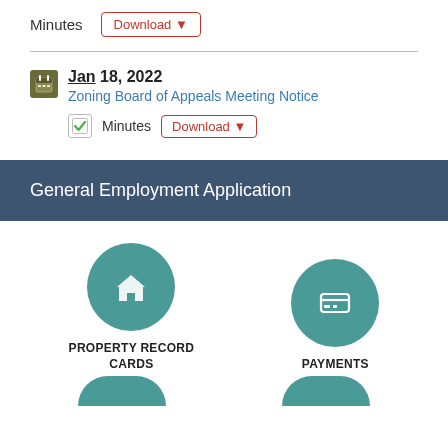Minutes  Download ▼
Jan 18, 2022
Zoning Board of Appeals Meeting Notice
Minutes  Download ▼
General Employment Application
[Figure (infographic): Teal circle icon with house symbol, labeled PROPERTY RECORD CARDS]
[Figure (infographic): Teal circle icon with credit card symbol, labeled PAYMENTS]